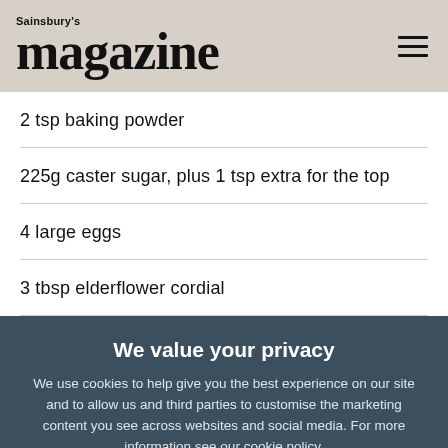Sainsbury's magazine
2 tsp baking powder
225g caster sugar, plus 1 tsp extra for the top
4 large eggs
3 tbsp elderflower cordial
We value your privacy
We use cookies to help give you the best experience on our site and to allow us and third parties to customise the marketing content you see across websites and social media. For more information see our cookie policy.
Manage Preferences
Accept All Cookies